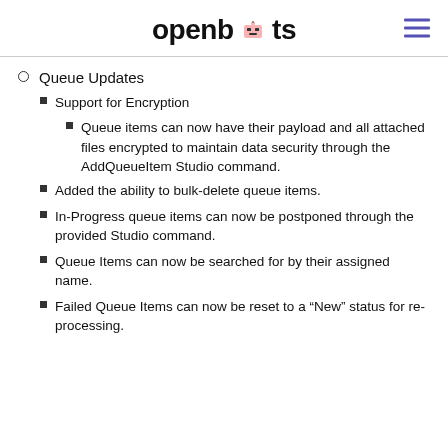openbots
Queue Updates
Support for Encryption
Queue items can now have their payload and all attached files encrypted to maintain data security through the AddQueueItem Studio command.
Added the ability to bulk-delete queue items.
In-Progress queue items can now be postponed through the provided Studio command.
Queue Items can now be searched for by their assigned name.
Failed Queue Items can now be reset to a “New” status for re-processing.